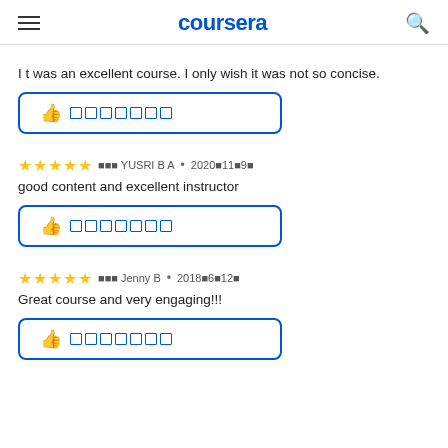coursera
I t was an excellent course. I only wish it was not so concise.
[Figure (other): Helpful thumbs-up button with squares]
☆☆☆☆☆ ▪▪▪ YUSRI B A • 2020▪11▪9▪
good content and excellent instructor
[Figure (other): Helpful thumbs-up button with squares]
☆☆☆☆☆ ▪▪▪ Jenny B • 2018▪6▪12▪
Great course and very engaging!!!
[Figure (other): Helpful thumbs-up button with squares]